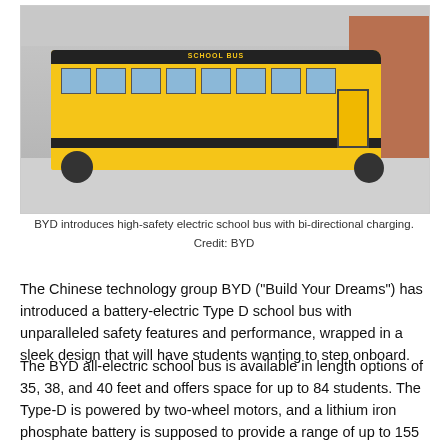[Figure (photo): A yellow BYD electric school bus with black stripes, photographed from the side, with a brick building visible in the background.]
BYD introduces high-safety electric school bus with bi-directional charging. Credit: BYD
The Chinese technology group BYD (“Build Your Dreams”) has introduced a battery-electric Type D school bus with unparalleled safety features and performance, wrapped in a sleek design that will have students wanting to step onboard.
The BYD all-electric school bus is available in length options of 35, 38, and 40 feet and offers space for up to 84 students. The Type-D is powered by two-wheel motors, and a lithium iron phosphate battery is supposed to provide a range of up to 155 miles (250 km) on a single charge. BYD does not provide details on the battery and the performance of the